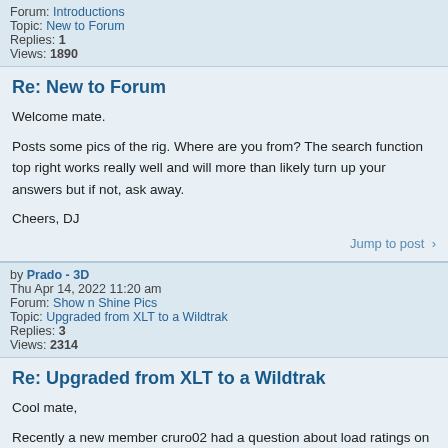Forum: Introductions
Topic: New to Forum
Replies: 1
Views: 1890
Re: New to Forum
Welcome mate.

Posts some pics of the rig. Where are you from? The search function top right works really well and will more than likely turn up your answers but if not, ask away.

Cheers, DJ
Jump to post >
by Prado - 3D
Thu Apr 14, 2022 11:20 am
Forum: Show n Shine Pics
Topic: Upgraded from XLT to a Wildtrak
Replies: 3
Views: 2314
Re: Upgraded from XLT to a Wildtrak
Cool mate,

Recently a new member cruro02 had a question about load ratings on the rear tub. His post is below.
viewtopic.php?f=54&t=14317